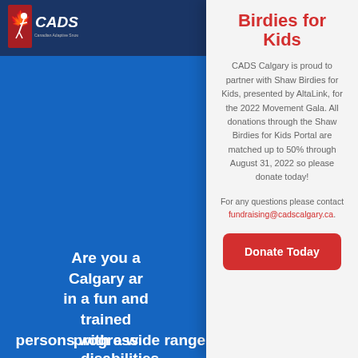[Figure (logo): CADS (Canadian Adaptive Snowsports Association) logo in top left, red maple leaf and skier icon, white text on dark blue background]
Birdies for Kids
CADS Calgary is proud to partner with Shaw Birdies for Kids, presented by AltaLink, for the 2022 Movement Gala. All donations through the Shaw Birdies for Kids Portal are matched up to 50% through August 31, 2022 so please donate today!
For any questions please contact fundraising@cadscalgary.ca.
Donate Today
Are you a Calgary ar in a fun and trained progress persons with a wide range of disabilities